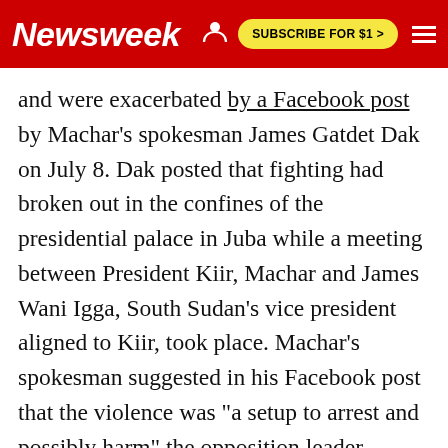Newsweek | SUBSCRIBE FOR $1 >
and were exacerbated by a Facebook post by Machar's spokesman James Gatdet Dak on July 8. Dak posted that fighting had broken out in the confines of the presidential palace in Juba while a meeting between President Kiir, Machar and James Wani Igga, South Sudan's vice president aligned to Kiir, took place. Machar's spokesman suggested in his Facebook post that the violence was "a setup to arrest and possibly harm" the opposition leader.